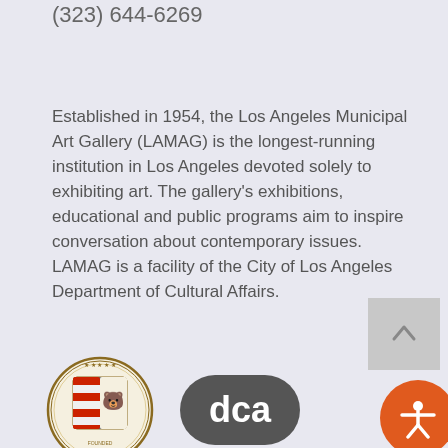(323) 644-6269
Established in 1954, the Los Angeles Municipal Art Gallery (LAMAG) is the longest-running institution in Los Angeles devoted solely to exhibiting art. The gallery's exhibitions, educational and public programs aim to inspire conversation about contemporary issues. LAMAG is a facility of the City of Los Angeles Department of Cultural Affairs.
[Figure (logo): City of Los Angeles seal and DCA (Department of Cultural Affairs) logo side by side]
[Figure (infographic): Social media icons: Facebook, Twitter, Instagram]